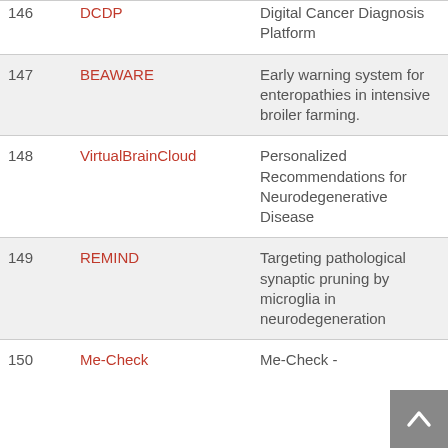| # | Acronym | Description |
| --- | --- | --- |
| 146 | DCDP | Digital Cancer Diagnosis Platform |
| 147 | BEAWARE | Early warning system for enteropathies in intensive broiler farming. |
| 148 | VirtualBrainCloud | Personalized Recommendations for Neurodegenerative Disease |
| 149 | REMIND | Targeting pathological synaptic pruning by microglia in neurodegeneration |
| 150 | Me-Check | Me-Check - |